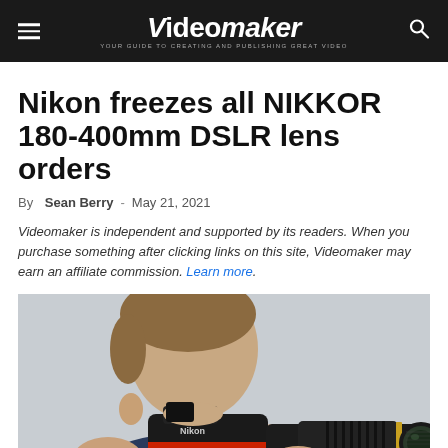Videomaker — YOUR GUIDE TO CREATING AND PUBLISHING GREAT VIDEO
Nikon freezes all NIKKOR 180-400mm DSLR lens orders
By Sean Berry - May 21, 2021
Videomaker is independent and supported by its readers. When you purchase something after clicking links on this site, Videomaker may earn an affiliate commission. Learn more.
[Figure (photo): Photographer holding a Nikon DSLR camera with a large telephoto lens up to their eye, shooting against a bright background]